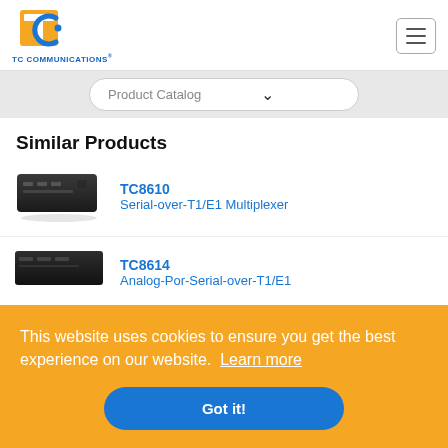[Figure (logo): TC Communications logo with orange/blue icon and blue company name text]
Product Catalog
Similar Products
[Figure (photo): TC8610 Serial-over-T1/E1 Multiplexer device photo]
TC8610
Serial-over-T1/E1 Multiplexer
[Figure (photo): TC8614 device photo]
TC8614
Analog-Por-Serial-over-T1/E1
This website uses cookies to ensure you get the best experience on our website.  Learn more
Got it!